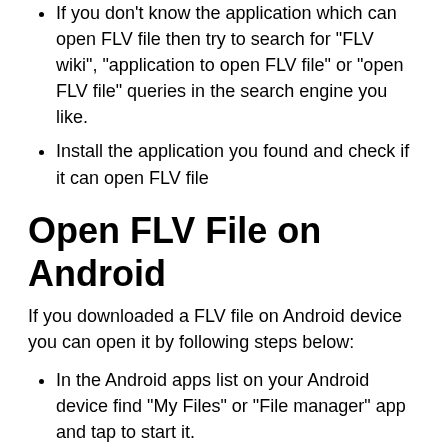If you don't know the application which can open FLV file then try to search for "FLV wiki", "application to open FLV file" or "open FLV file" queries in the search engine you like.
Install the application you found and check if it can open FLV file
Open FLV File on Android
If you downloaded a FLV file on Android device you can open it by following steps below:
In the Android apps list on your Android device find "My Files" or "File manager" app and tap to start it.
Tap on "Downloads" folder inside the app.
You should see your downloaded FLV file in that folder.
Tap on the file. If Android device supports opening the file you downloaded it will open in the corresponding app.